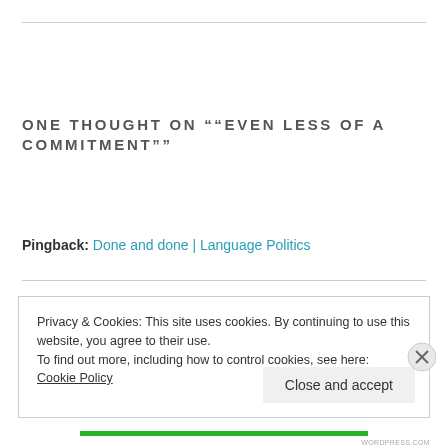ONE THOUGHT ON "“EVEN LESS OF A COMMITMENT”"
Leave a comment
Pingback: Done and done | Language Politics
Privacy & Cookies: This site uses cookies. By continuing to use this website, you agree to their use.
To find out more, including how to control cookies, see here: Cookie Policy
Close and accept